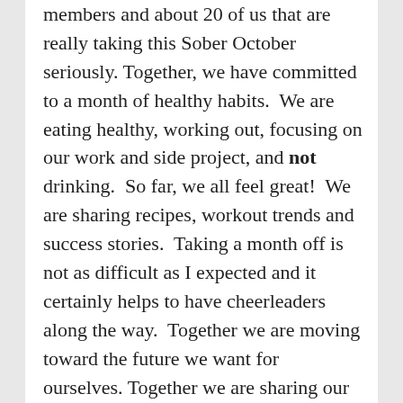members and about 20 of us that are really taking this Sober October seriously. Together, we have committed to a month of healthy habits.  We are eating healthy, working out, focusing on our work and side project, and not drinking.  So far, we all feel great!  We are sharing recipes, workout trends and success stories.  Taking a month off is not as difficult as I expected and it certainly helps to have cheerleaders along the way.  Together we are moving toward the future we want for ourselves.  Together we are sharing our ambition and helping one another to succeed.  Together we grow in our strength, our motivation and in our personal quests.

A simple thought. Envisioned. Shared. Action. = Future!